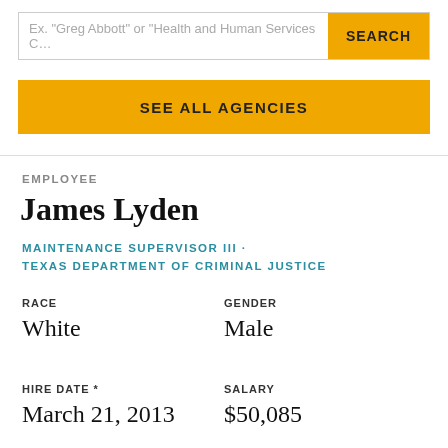Ex. "Greg Abbott" or "Health and Human Services C…
SEARCH
SEE ALL AGENCIES
EMPLOYEE
James Lyden
MAINTENANCE SUPERVISOR III · TEXAS DEPARTMENT OF CRIMINAL JUSTICE
RACE
White
GENDER
Male
HIRE DATE *
March 21, 2013
SALARY
$50,085